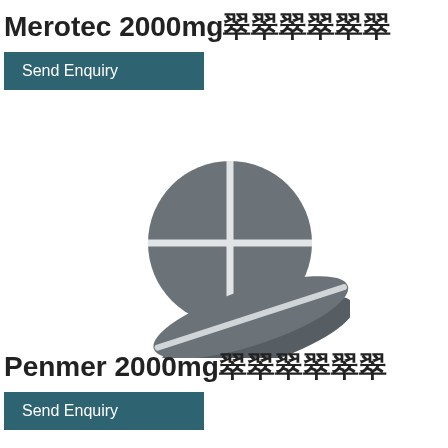Merotec 2000mg 錠剤
Send Enquiry
[Figure (illustration): Gray icon of pharmaceutical tablets/pills - one round pill with cross score marks shown from above and one oval/tablet pill shown at an angle below it]
Penmer 2000mg 錠剤
Send Enquiry